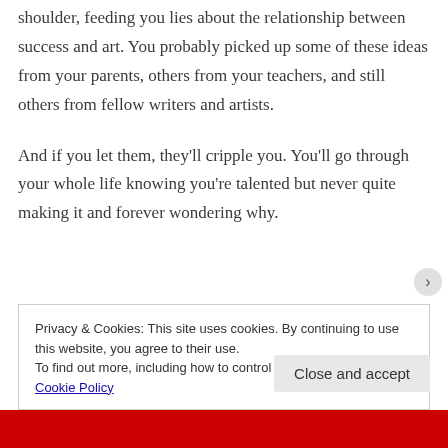shoulder, feeding you lies about the relationship between success and art. You probably picked up some of these ideas from your parents, others from your teachers, and still others from fellow writers and artists.
And if you let them, they'll cripple you. You'll go through your whole life knowing you're talented but never quite making it and forever wondering why.
Privacy & Cookies: This site uses cookies. By continuing to use this website, you agree to their use.
To find out more, including how to control cookies, see here: Cookie Policy
Close and accept